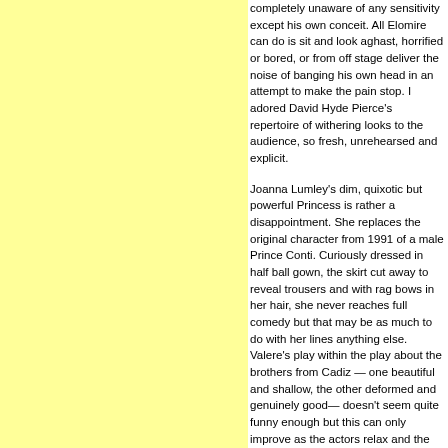completely unaware of any sensitivity except his own conceit. All Elomire can do is sit and look aghast, horrified or bored, or from off stage deliver the noise of banging his own head in an attempt to make the pain stop. I adored David Hyde Pierce's repertoire of withering looks to the audience, so fresh, unrehearsed and explicit.
Joanna Lumley's dim, quixotic but powerful Princess is rather a disappointment. She replaces the original character from 1991 of a male Prince Conti. Curiously dressed in half ball gown, the skirt cut away to reveal trousers and with rag bows in her hair, she never reaches full comedy but that may be as much to do with her lines anything else. Valere's play within the play about the brothers from Cadiz — one beautiful and shallow, the other deformed and genuinely good— doesn't seem quite funny enough but this can only improve as the actors relax and the physical comedy becomes seamless.
I greatly enjoyed David Hirson's rhyming couplets for their wit and inventiveness. The character too of the maid Dorine played by Greta Lee who can only utter words ending in "oo" is a fun diversion as we try to guess through her mime what she intends to say! The set is grandiose, towering book shelves and the courtly dinner party seen behind a veil with the maid to the fore of the stage.
Warchus' production transfers to Broadway in September and it will be most interesting to see how it is received there after the American chilly critical response in the